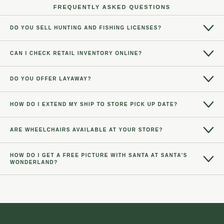FREQUENTLY ASKED QUESTIONS
DO YOU SELL HUNTING AND FISHING LICENSES?
CAN I CHECK RETAIL INVENTORY ONLINE?
DO YOU OFFER LAYAWAY?
HOW DO I EXTEND MY SHIP TO STORE PICK UP DATE?
ARE WHEELCHAIRS AVAILABLE AT YOUR STORE?
HOW DO I GET A FREE PICTURE WITH SANTA AT SANTA'S WONDERLAND?